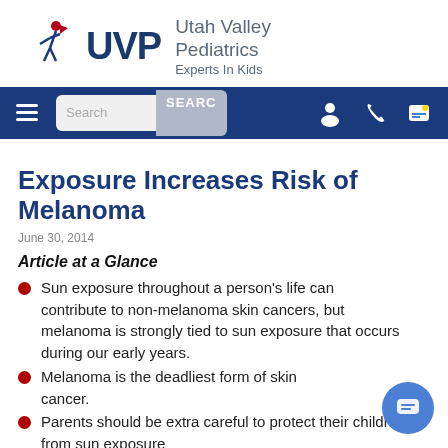[Figure (logo): Utah Valley Pediatrics logo with UVP text and figure icon, tagline Experts In Kids]
[Figure (screenshot): Navigation bar with hamburger menu, search box, and icons for user, phone, and document]
Exposure Increases Risk of Melanoma
June 30, 2014
Article at a Glance
Sun exposure throughout a person’s life can contribute to non-melanoma skin cancers, but melanoma is strongly tied to sun exposure that occurs during our early years.
Melanoma is the deadliest form of skin cancer.
Parents should be extra careful to protect their children from sun exposure